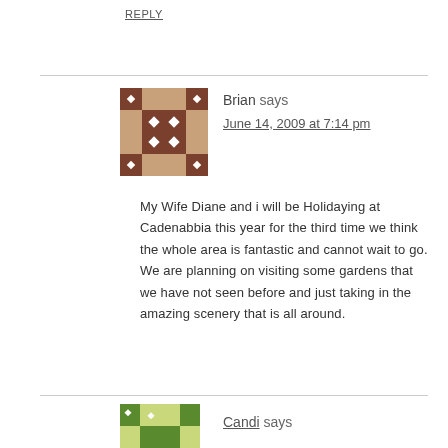REPLY
Brian says
June 14, 2009 at 7:14 pm
My Wife Diane and i will be Holidaying at Cadenabbia this year for the third time we think the whole area is fantastic and cannot wait to go. We are planning on visiting some gardens that we have not seen before and just taking in the amazing scenery that is all around.
REPLY
Candi says